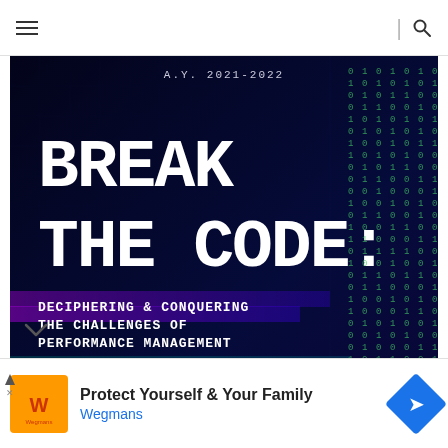Navigation bar with hamburger menu and search icon
[Figure (infographic): Break The Code: Deciphering & Conquering The Challenges Of Performance Management. A.Y. 2021-2022. July 27, 2022 1:00-5:00 PM via Facebook Live and Zoom. Register Now! button. Dark blue digital/binary background with falling binary numbers on right side.]
Protect Yourself & Your Family Wegmans